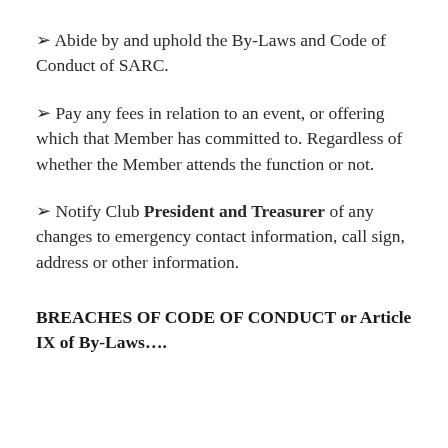➢ Abide by and uphold the By-Laws and Code of Conduct of SARC.
➢ Pay any fees in relation to an event, or offering which that Member has committed to. Regardless of whether the Member attends the function or not.
➢ Notify Club President and Treasurer of any changes to emergency contact information, call sign, address or other information.
BREACHES OF CODE OF CONDUCT or Article IX of By-Laws….